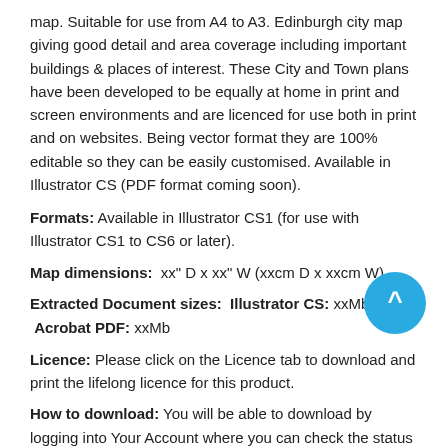map. Suitable for use from A4 to A3. Edinburgh city map giving good detail and area coverage including important buildings & places of interest. These City and Town plans have been developed to be equally at home in print and screen environments and are licenced for use both in print and on websites. Being vector format they are 100% editable so they can be easily customised. Available in Illustrator CS (PDF format coming soon).
Formats: Available in Illustrator CS1 (for use with Illustrator CS1 to CS6 or later).
Map dimensions:  xx" D x xx" W (xxcm D x xxcm W)
Extracted Document sizes:  Illustrator CS: xxMb  Acrobat PDF: xxMb
[Figure (other): Blue circular scroll-up button with upward caret symbol]
Licence: Please click on the Licence tab to download and print the lifelong licence for this product.
How to download: You will be able to download by logging into Your Account where you can check the status and details of orders (including the applicable Product End User Licence). You can